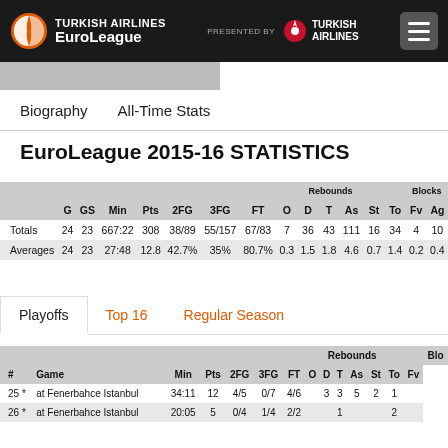Turkish Airlines EuroLeague | Presented by Turkish Airlines
Biography
All-Time Stats
EuroLeague 2015-16 STATISTICS
|  | G | GS | Min | Pts | 2FG | 3FG | FT | O | D | T | As | St | To | Fv | Ag |
| --- | --- | --- | --- | --- | --- | --- | --- | --- | --- | --- | --- | --- | --- | --- | --- |
| Totals | 24 | 23 | 667:22 | 308 | 38/89 | 55/157 | 67/83 | 7 | 36 | 43 | 111 | 16 | 34 | 4 | 10 |
| Averages | 24 | 23 | 27:48 | 12.8 | 42.7% | 35% | 80.7% | 0.3 | 1.5 | 1.8 | 4.6 | 0.7 | 1.4 | 0.2 | 0.4 |
Playoffs
Top 16
Regular Season
| # | Game | Min | Pts | 2FG | 3FG | FT | O | D | T | As | St | To | Fv |
| --- | --- | --- | --- | --- | --- | --- | --- | --- | --- | --- | --- | --- | --- |
| 25 * | at Fenerbahce Istanbul | 34:11 | 12 | 4/5 | 0/7 | 4/6 |  | 3 | 3 | 5 | 2 | 1 |  |
| 26 * | at Fenerbahce Istanbul | 20:05 | 5 | 0/4 | 1/4 | 2/2 |  |  | 1 |  |  | 2 |  |